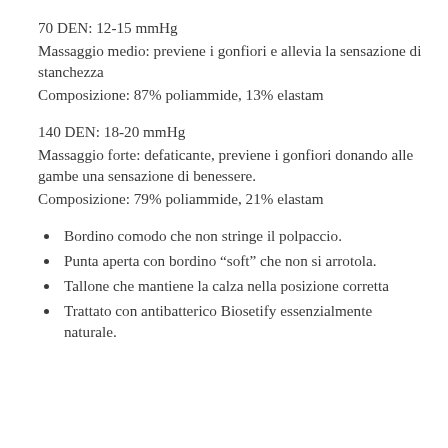70 DEN:  12-15 mmHg
Massaggio medio:  previene i gonfiori e allevia la sensazione di stanchezza
Composizione: 87% poliammide,  13% elastam
140 DEN:  18-20 mmHg
Massaggio forte:  defaticante, previene i gonfiori donando alle gambe una sensazione di benessere.
Composizione: 79% poliammide,  21% elastam
Bordino comodo che non stringe il polpaccio.
Punta aperta con bordino “soft” che non si arrotola.
Tallone che mantiene la calza nella posizione corretta
Trattato con antibatterico Biosetify essenzialmente naturale.